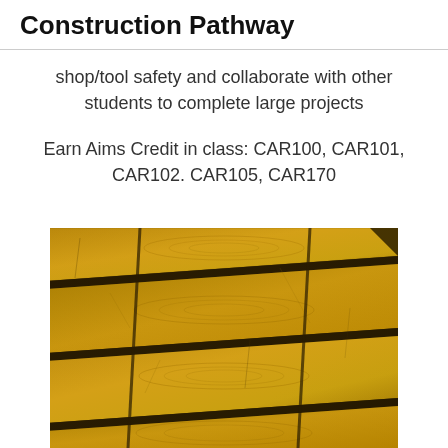Construction Pathway
shop/tool safety and collaborate with other students to complete large projects
Earn Aims Credit in class: CAR100, CAR101, CAR102. CAR105, CAR170
[Figure (photo): Close-up photograph of stacked golden-yellow wooden lumber planks viewed from the end grain, showing cross-sections arranged diagonally]